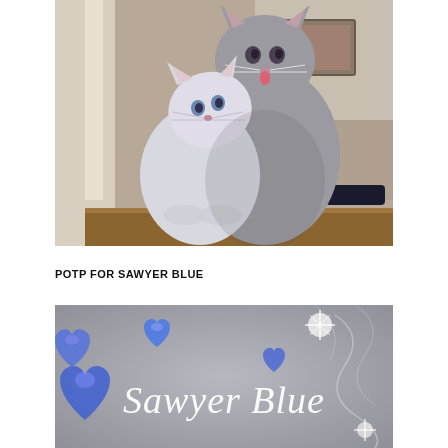[Figure (photo): Two cats cuddling together — a smaller white/light gray cat nuzzling up against a larger gray cat, photographed indoors on a wooden surface with a room visible in the background.]
POTP FOR SAWYER BLUE
[Figure (photo): A decorative banner or graphic with a gray textured background featuring blue heart shapes and sparkles, with the text 'Sawyer Blue' in a white decorative script font.]